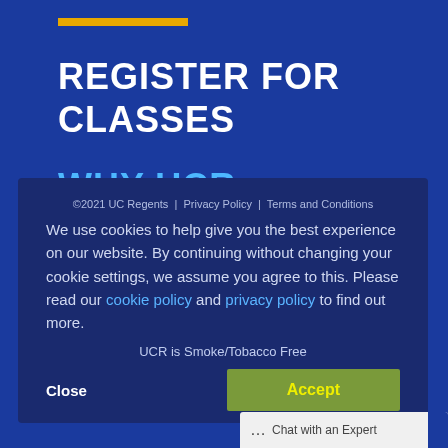REGISTER FOR CLASSES
WHY UCR EXTENSION
We use cookies to help give you the best experience on our website. By continuing without changing your cookie settings, we assume you agree to this. Please read our cookie policy and privacy policy to find out more.
©2021 UC Regents  |  Privacy Policy  |  Terms and Conditions
UCR is Smoke/Tobacco Free
Close   Accept
Chat with an Expert